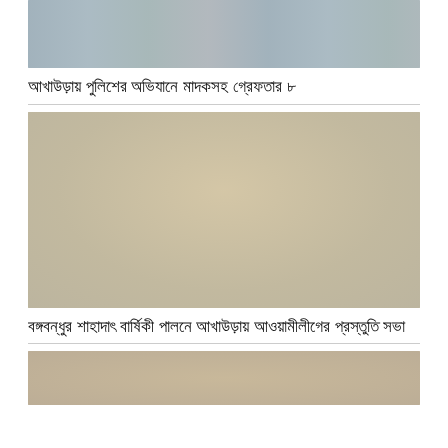[Figure (photo): Group of people standing together for a photo, partially visible (top portion cropped)]
আখাউড়ায় পুলিশের অভিযানে মাদকসহ গ্রেফতার ৮
[Figure (photo): A meeting or gathering scene indoors with many people seated on chairs around a table; portraits hanging on wall in background, a large political poster visible on the right wall]
বঙ্গবন্ধুর শাহাদাৎ বার্ষিকী পালনে আখাউড়ায় আওয়ামীলীগের প্রস্তুতি সভা
[Figure (photo): Partial view of a building or office interior, partially visible at bottom of page]